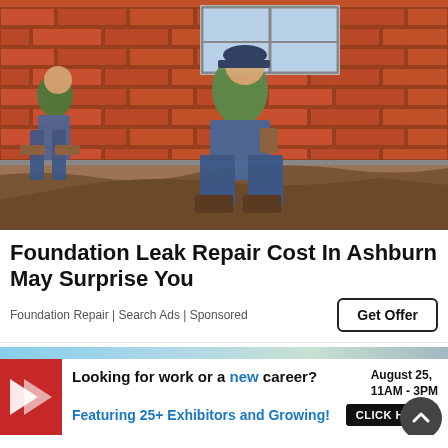[Figure (photo): Two workers digging along the foundation of a red brick house, performing foundation repair work. One worker kneels close to brick wall, another bends over. Excavated dirt trench visible along the base of the building.]
Foundation Leak Repair Cost In Ashburn May Surprise You
Foundation Repair | Search Ads | Sponsored
[Figure (infographic): Banner advertisement: Red and blue logo on left. Text reads: Looking for work or a new career? August 25, 11AM - 3PM. Featuring 25+ Exhibitors and Growing! CLICK HERE button. Scroll-up circular button on right.]